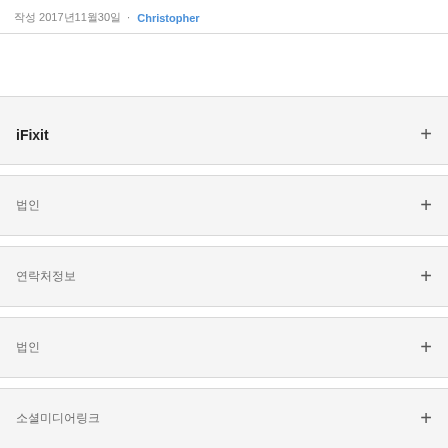작성 2017년11월30일 · Christopher
iFixit
법인
연락처정보
법인
소셜미디어링크